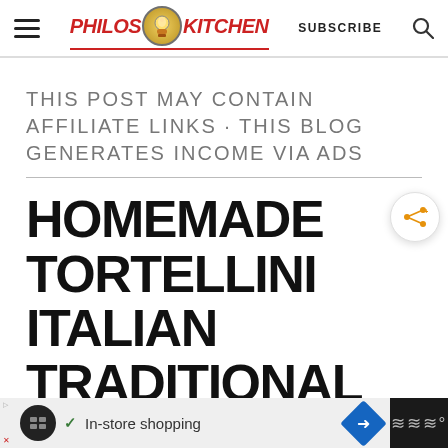Philos Kitchen — SUBSCRIBE
THIS POST MAY CONTAIN AFFILIATE LINKS · THIS BLOG GENERATES INCOME VIA ADS
HOMEMADE TORTELLINI ITALIAN TRADITIONAL RECIPE AND
[Figure (screenshot): What's Next promo card showing HOMEMADE SUN-DRIED... with thumbnail of sun-dried tomatoes]
[Figure (screenshot): Ad banner: In-store shopping with Google Maps diamond arrow icon]